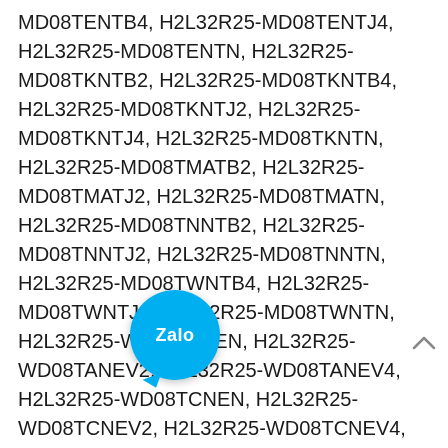MD08TENTB4, H2L32R25-MD08TENTJ4, H2L32R25-MD08TENTN, H2L32R25-MD08TKNTB2, H2L32R25-MD08TKNTB4, H2L32R25-MD08TKNTJ2, H2L32R25-MD08TKNTJ4, H2L32R25-MD08TKNTN, H2L32R25-MD08TMATB2, H2L32R25-MD08TMATJ2, H2L32R25-MD08TMATN, H2L32R25-MD08TNNTB2, H2L32R25-MD08TNNTJ2, H2L32R25-MD08TNNTN, H2L32R25-MD08TWNTB4, H2L32R25-MD08TWNTJ4, H2L32R25-MD08TWNTN, H2L32R25-WD08TANEN, H2L32R25-WD08TANEV2, H2L32R25-WD08TANEV4, H2L32R25-WD08TCNEN, H2L32R25-WD08TCNEV2, H2L32R25-WD08TCNEV4, H2L32R25-WD08TENEN, H2L32R25-WD08TENEV4, H2L32R25-WD08TKNEN, H2L32R25-WD08TKNEV2, H2L32R25-WD08TKNEV4, H2L32R25-WD08TMAEN, H2L32R25-WD08TMAEV2, H2L32R25-WD08TNNEN, H2L32R25-WD08TNNEV2, H2L32R25-WD08TWNEN, H2L32R25-WD08TWNEV4, H2L32R25-WP08TNNEN, H2L32R25-WP08TNNEV2, H2L32R25-WP08TWNEN, H2L32R25-WP08TWNEV2, H2L32R25-WP08TWNEV4, H2L32R300-WM02TANEN, H2L32R300-
[Figure (logo): Zalo app icon — circular teal/cyan button with white 'Zalo' text and a speech bubble tail at bottom left]